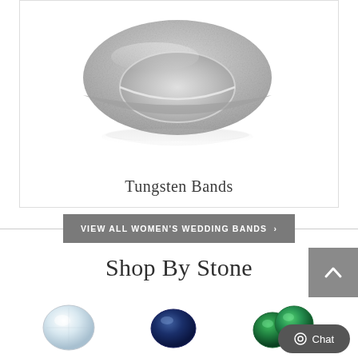[Figure (photo): Close-up photo of a silver/tungsten wedding band ring with frosted matte finish on top and polished interior edge, shown at an angle with a faint reflection below]
Tungsten Bands
VIEW ALL WOMEN'S WEDDING BANDS  >
Shop By Stone
[Figure (photo): Round diamond gemstone (clear/white)]
[Figure (photo): Oval dark blue sapphire gemstone]
[Figure (photo): Two green emerald gemstones]